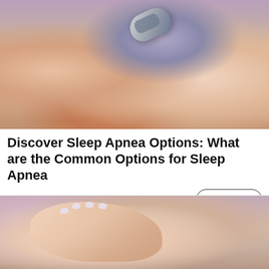[Figure (photo): Close-up photo of a woman's face lying down with a sleep apnea device placed under her chin/jaw area. The device is silver/grey and curved.]
Discover Sleep Apnea Options: What are the Common Options for Sleep Apnea
Sleep Apnea | Yahoo! Search | Sponsored
Learn More
[Figure (photo): Close-up photo of a person's hands with light purple/lavender painted nails resting on what appears to be a ribbed fabric or clothing.]